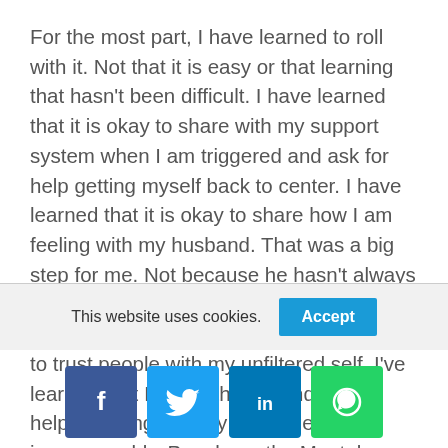For the most part, I have learned to roll with it. Not that it is easy or that learning that hasn't been difficult. I have learned that it is okay to share with my support system when I am triggered and ask for help getting myself back to center. I have learned that it is okay to share how I am feeling with my husband. That was a big step for me. Not because he hasn't always been supportive of me, he has. Because of my particular issues, it is difficult for me to trust people with my unfiltered self. I've learned that I can with him, and it has helped strengthen my marriage immeasurably. People on the Mental Health board at PatientsLikeMe have been incredibly helpful and supportive
This website uses cookies.
[Figure (other): Cookie accept button and social sharing buttons (Facebook, Twitter, LinkedIn, WhatsApp)]